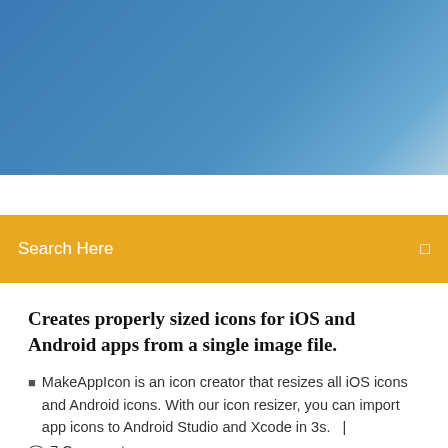[Figure (photo): Blue sky gradient header banner image]
Search Here
Creates properly sized icons for iOS and Android apps from a single image file.
MakeAppIcon is an icon creator that resizes all iOS icons and Android icons. With our icon resizer, you can import app icons to Android Studio and Xcode in 3s.  |
7 Comments
Free icons of Android in various design styles for web, mobile, and graphic design Download icons in all formats or edit them